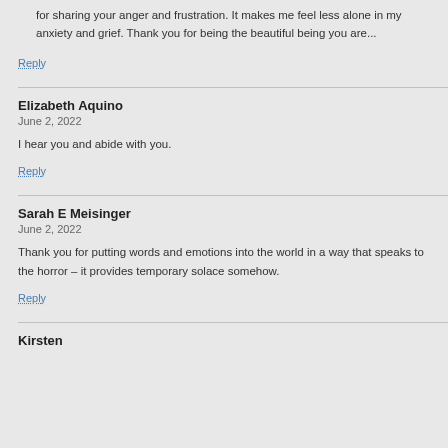for sharing your anger and frustration. It makes me feel less alone in my anxiety and grief. Thank you for being the beautiful being you are...
Reply
Elizabeth Aquino
June 2, 2022
I hear you and abide with you.
Reply
Sarah E Meisinger
June 2, 2022
Thank you for putting words and emotions into the world in a way that speaks to the horror – it provides temporary solace somehow.
Reply
Kirsten